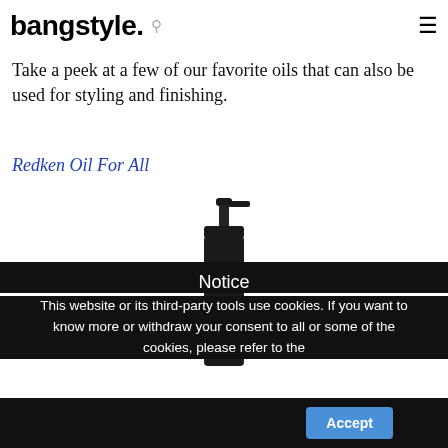bangstyle. [search icon] [menu icon]
Take a peek at a few of our favorite oils that can also be used for styling and finishing.
Redken Oil For All
[Figure (photo): Black pump bottle product shot of Redken Oil For All]
Notice
This website or its third-party tools use cookies. If you want to know more or withdraw your consent to all or some of the cookies, please refer to the
Accept